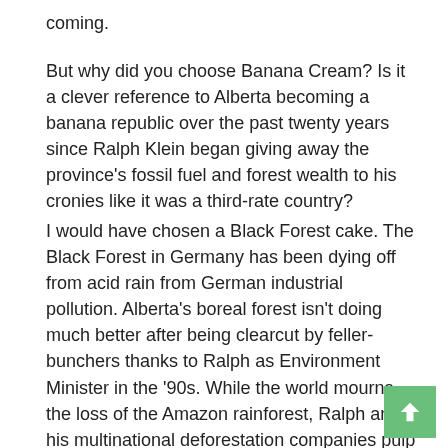coming.
But why did you choose Banana Cream? Is it a clever reference to Alberta becoming a banana republic over the past twenty years since Ralph Klein began giving away the province's fossil fuel and forest wealth to his cronies like it was a third-rate country?
I would have chosen a Black Forest cake. The Black Forest in Germany has been dying off from acid rain from German industrial pollution. Alberta's boreal forest isn't doing much better after being clearcut by feller-bunchers thanks to Ralph as Environment Minister in the '90s. While the world mourns the loss of the Amazon rainforest, Ralph and his multinational deforestation companies pulp the last great forest on earth into short-term profits and long-term devastation.